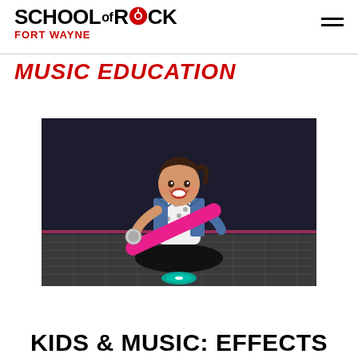SCHOOL OF ROCK FORT WAYNE
MUSIC EDUCATION
[Figure (photo): A young toddler girl sitting on a stage floor, smiling broadly and holding a pink toy/child-size guitar or instrument. She is wearing a denim jacket over a white polka-dot dress with black leggings. The background is dark/black, likely a stage backdrop. A small teal disc is visible on the floor in front of her.]
KIDS & MUSIC: EFFECTS